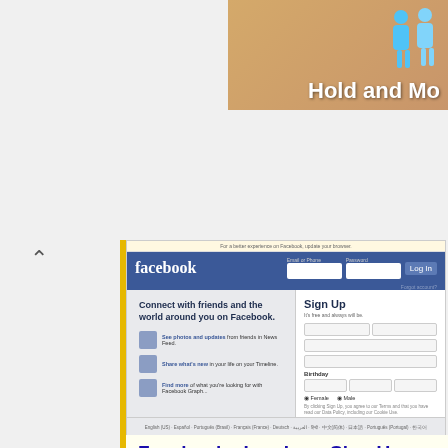[Figure (screenshot): Facebook homepage screenshot showing login bar, Connect with friends tagline, Sign Up form with fields for name, mobile/email, password, birthday, gender, and Sign Up button]
Facebook - Log In or Sign Up
https://www.facebook.com/
Create an account or log into Facebook. Connect with friends, family and other people you know. Share photos and videos, send messages and get updates.